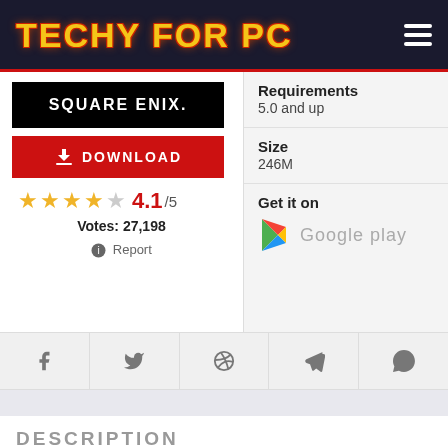TECHY FOR PC
[Figure (logo): Square Enix publisher logo, white text on black background]
DOWNLOAD
4.1/5
Votes: 27,198
Report
Requirements
5.0 and up
Size
246M
Get it on
Google play
DESCRIPTION